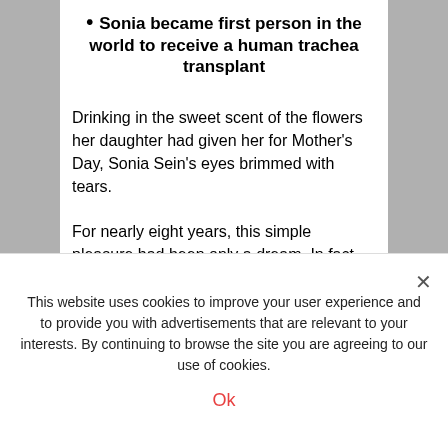Sonia became first person in the world to receive a human trachea transplant
Drinking in the sweet scent of the flowers her daughter had given her for Mother’s Day, Sonia Sein’s eyes brimmed with tears.
For nearly eight years, this simple pleasure had been only a dream. In fact, her health and quality of life was so poor that at just 56, Sonia, a former social worker and grandmother of two from New York, was
This website uses cookies to improve your user experience and to provide you with advertisements that are relevant to your interests. By continuing to browse the site you are agreeing to our use of cookies.
Ok